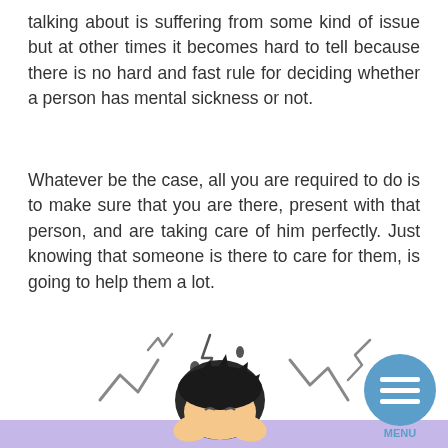talking about is suffering from some kind of issue but at other times it becomes hard to tell because there is no hard and fast rule for deciding whether a person has mental sickness or not.
Whatever be the case, all you are required to do is to make sure that you are there, present with that person, and are taking care of him perfectly. Just knowing that someone is there to care for them, is going to help them a lot.
[Figure (illustration): Cartoon illustration of a person with their head in their hands, surrounded by zigzag stress lines and lightning bolts, with a purple bar at the bottom. A blue circular menu button is in the bottom right corner.]